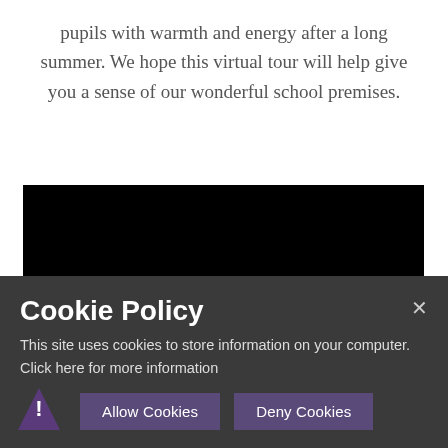pupils with warmth and energy after a long summer. We hope this virtual tour will help give you a sense of our wonderful school premises.
[Figure (screenshot): Black video embed placeholder with message: You have not allowed cookies and this content may contain cookies.]
Cookie Policy
This site uses cookies to store information on your computer. Click here for more information
Allow Cookies  Deny Cookies